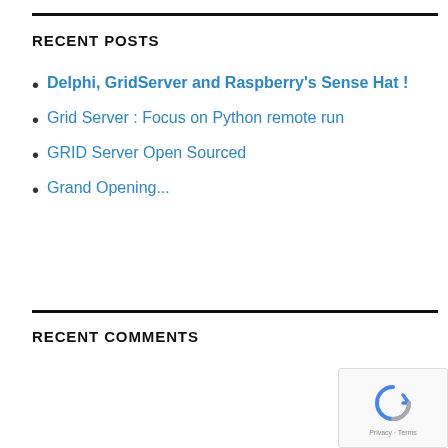RECENT POSTS
Delphi, GridServer and Raspberry's Sense Hat !
Grid Server : Focus on Python remote run
GRID Server Open Sourced
Grand Opening...
RECENT COMMENTS